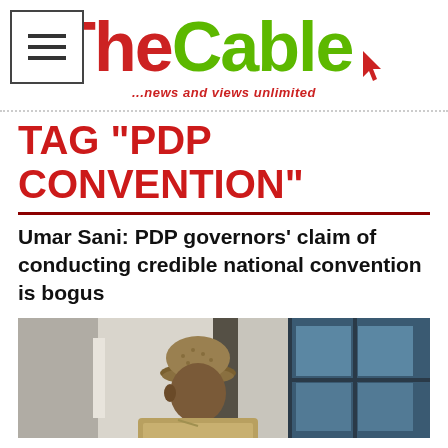[Figure (logo): TheCable news logo with hamburger menu icon. 'The' in red, 'Cable' in green with a cursor icon. Tagline: '...news and views unlimited']
TAG "PDP CONVENTION"
Umar Sani: PDP governors' claim of conducting credible national convention is bogus
[Figure (photo): Photo of a man wearing a traditional Nigerian cap (fula) in a khaki/tan outfit, partially visible, indoor setting with windows in the background.]